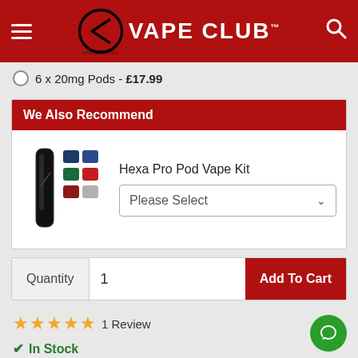VAPE CLUB™
6 x 20mg Pods - £17.99
We Also Recommend
Hexa Pro Pod Vape Kit
Please Select
Quantity  1  Add To Cart
★★★★★ 1 Review
✔ In Stock
Order by 2:30PM for same day dispatch & tracked next day UK delivery.* FREE when you spend over £20!
✔ Price Match Guarantee
We will never be beaten on price! Terms & conditions apply.